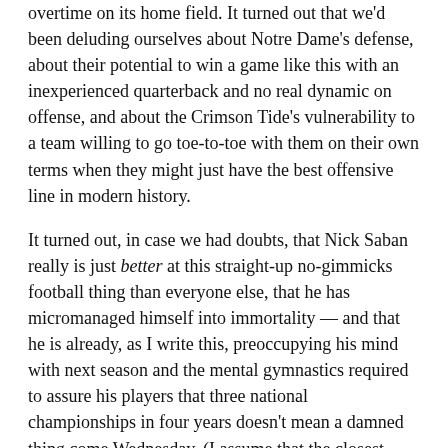overtime on its home field. It turned out that we'd been deluding ourselves about Notre Dame's defense, about their potential to win a game like this with an inexperienced quarterback and no real dynamic on offense, and about the Crimson Tide's vulnerability to a team willing to go toe-to-toe with them on their own terms when they might just have the best offensive line in modern history.
It turned out, in case we had doubts, that Nick Saban really is just better at this straight-up no-gimmicks football thing than everyone else, that he has micromanaged himself into immortality — and that he is already, as I write this, preoccupying his mind with next season and the mental gymnastics required to assure his players that three national championships in four years doesn't mean a damned thing come Wednesday. (I assume that the closest Nick Saban comes to laughing during football season is when he calls out HaHa Clinton-Dix for covering the wrong zone.)
And I accept that this is the landscape of college football as we veer toward the playoff era: an individual dynasty tucked neatly inside a regional dynasty, with no real expiration date in sight. It